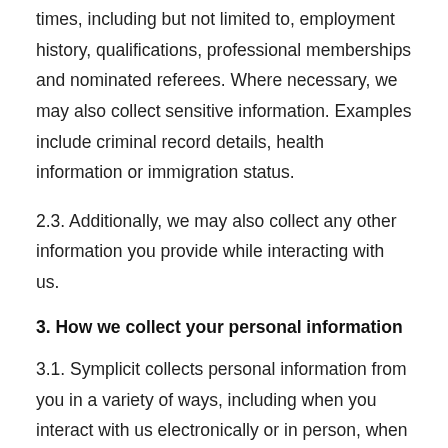times, including but not limited to, employment history, qualifications, professional memberships and nominated referees. Where necessary, we may also collect sensitive information. Examples include criminal record details, health information or immigration status.
2.3. Additionally, we may also collect any other information you provide while interacting with us.
3. How we collect your personal information
3.1. Symplicit collects personal information from you in a variety of ways, including when you interact with us electronically or in person, when you access our website, online systems and services, and when we provide our services to you. We may receive personal information